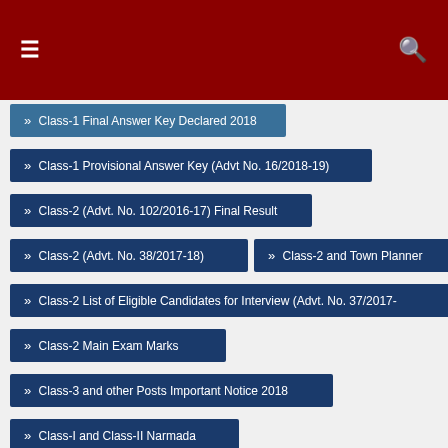Navigation menu header with hamburger icon and search icon on dark red background
Class-1 Final Answer Key Declared 2018
Class-1 Provisional Answer Key (Advt No. 16/2018-19)
Class-2 (Advt. No. 102/2016-17) Final Result
Class-2 (Advt. No. 38/2017-18)
Class-2 and Town Planner
Class-2 List of Eligible Candidates for Interview (Advt. No. 37/2017-
Class-2 Main Exam Marks
Class-3 and other Posts Important Notice 2018
Class-I and Class-II Narmada
Class-II (Advt. No. 102/2016-17) List of Eligible Candidates for
cm vijay rupani announces suryashakti kisan yojana for farmers
Coast Guard Assistant Commandant 01/2019 e-Admit Card 2018
Collector Office Bharuch Recruitment for Project Assistant Posts
Collector Office Ahmedabad Recruitment for Project Assistant...